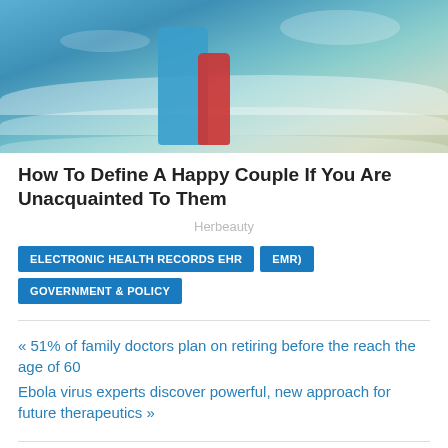[Figure (photo): Two people standing in ocean waves at a beach, one wearing blue shorts and one wearing a red swimsuit]
How To Define A Happy Couple If You Are Unacquainted To Them
Herbeauty
ELECTRONIC HEALTH RECORDS EHR
EMR)
GOVERNMENT & POLICY
« 51% of family doctors plan on retiring before the reach the age of 60
Ebola virus experts discover powerful, new approach for future therapeutics »
PERSONAL HEALTH